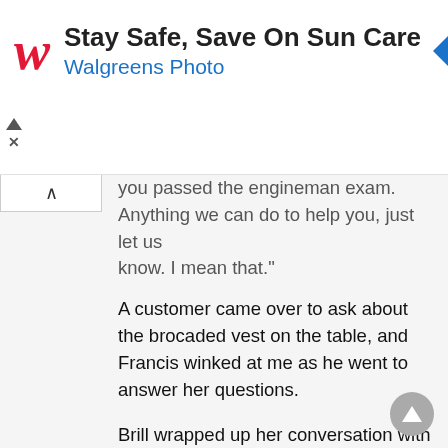[Figure (screenshot): Walgreens advertisement banner: red cursive W logo, headline 'Stay Safe, Save On Sun Care', subheading 'Walgreens Photo' in blue, and a blue diamond navigation icon on the right. Two ad-control arrows (triangle and X) on the far left.]
you passed the engineman exam. Anything we can do to help you, just let us know. I mean that."
A customer came over to ask about the brocaded vest on the table, and Francis winked at me as he went to answer her questions.
Brill wrapped up her conversation with Rebecca and we headed out of the co-op booth. They were all selling like crazy so it seemed like a good day for the McKendrick Mercantile Cooperative. We turned the corner and Brill said, "You